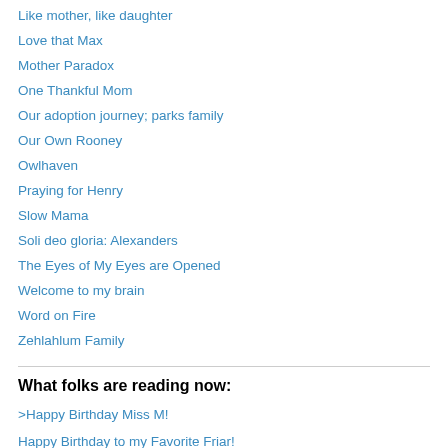Like mother, like daughter
Love that Max
Mother Paradox
One Thankful Mom
Our adoption journey; parks family
Our Own Rooney
Owlhaven
Praying for Henry
Slow Mama
Soli deo gloria: Alexanders
The Eyes of My Eyes are Opened
Welcome to my brain
Word on Fire
Zehlahlum Family
What folks are reading now:
>Happy Birthday Miss M!
Happy Birthday to my Favorite Friar!